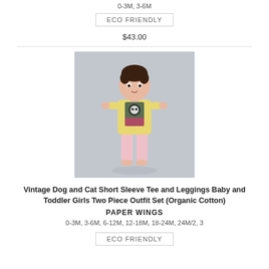0-3M, 3-6M
ECO FRIENDLY
$43.00
[Figure (photo): Baby/toddler girl standing wearing a yellow short sleeve tee with vintage dog and cat graphic and pink leggings, on a grey background]
Vintage Dog and Cat Short Sleeve Tee and Leggings Baby and Toddler Girls Two Piece Outfit Set (Organic Cotton)
PAPER WINGS
0-3M, 3-6M, 6-12M, 12-18M, 18-24M, 24M/2, 3
ECO FRIENDLY